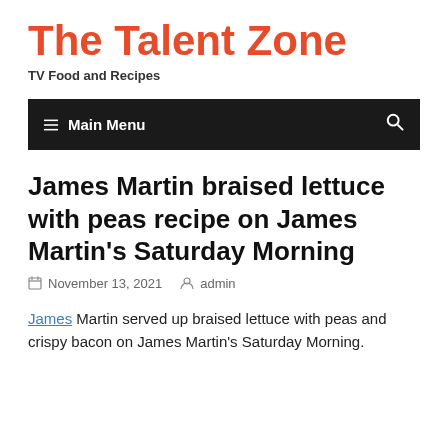The Talent Zone
TV Food and Recipes
≡  Main Menu
James Martin braised lettuce with peas recipe on James Martin's Saturday Morning
November 13, 2021   admin
James Martin served up braised lettuce with peas and crispy bacon on James Martin's Saturday Morning.